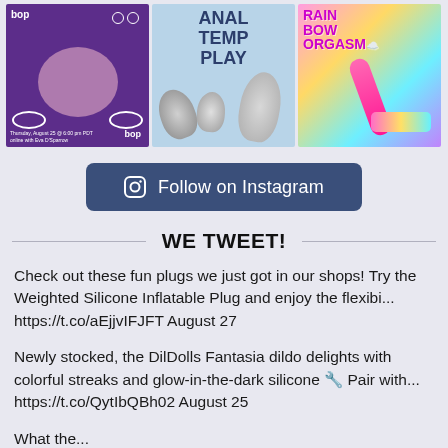[Figure (screenshot): Three Instagram post thumbnails in a row: first is a purple square with 'bop' branding and a woman in a flower crown, second is a light blue square with 'ANAL TEMP PLAY' text and metal plug toys, third is a rainbow-colored square with 'RAINBOW ORGASM' text and a vibrator/toy.]
Follow on Instagram
WE TWEET!
Check out these fun plugs we just got in our shops! Try the Weighted Silicone Inflatable Plug and enjoy the flexibi... https://t.co/aEjjvIFJFT August 27
Newly stocked, the DilDolls Fantasia dildo delights with colorful streaks and glow-in-the-dark silicone 🔧 Pair with... https://t.co/QytIbQBh02 August 25
What the... (partial, cut off at bottom)